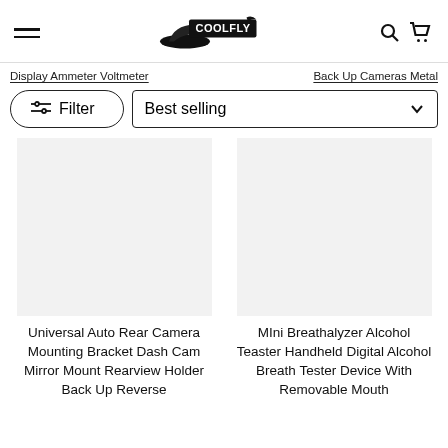COOLFLY — navigation header with hamburger menu, logo, search and cart icons
Display Ammeter Voltmeter
Back Up Cameras Metal
Filter | Best selling
Universal Auto Rear Camera Mounting Bracket Dash Cam Mirror Mount Rearview Holder Back Up Reverse
MIni Breathalyzer Alcohol Teaster Handheld Digital Alcohol Breath Tester Device With Removable Mouth